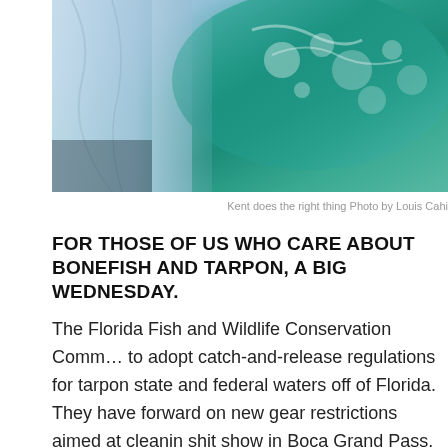[Figure (photo): Close-up photo of a person in a light blue shirt releasing a fish into green ocean water, with bubbles and splashing visible.]
Kent does the right thing Photo by Louis Cahi
FOR THOSE OF US WHO CARE ABOUT BONEFISH AND TARPON, A BIG WEDNESDAY.
The Florida Fish and Wildlife Conservation Commission voted to adopt catch-and-release regulations for tarpon in state and federal waters off of Florida. They have moved forward on new gear restrictions aimed at cleaning up the shit show in Boca Grand Pass. That topic will be meeting in September.